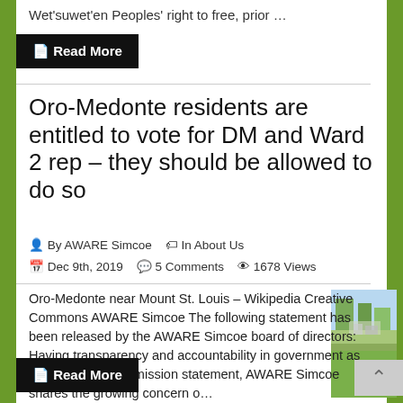Wet'suwet'en Peoples' right to free, prior …
Read More
Oro-Medonte residents are entitled to vote for DM and Ward 2 rep – they should be allowed to do so
By AWARE Simcoe   In About Us
Dec 9th, 2019   5 Comments   1678 Views
Oro-Medonte near Mount St. Louis – Wikipedia Creative Commons AWARE Simcoe The following statement has been released by the AWARE Simcoe board of directors: Having transparency and accountability in government as the first item in its mission statement, AWARE Simcoe shares the growing concern o…
[Figure (photo): Aerial/landscape photo of Oro-Medonte near Mount St. Louis, showing fields and trees]
Read More